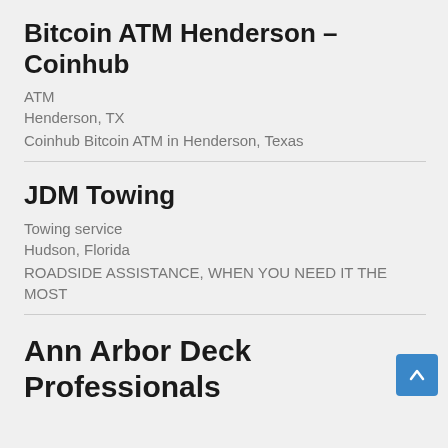Bitcoin ATM Henderson – Coinhub
ATM
Henderson, TX
Coinhub Bitcoin ATM in Henderson, Texas
JDM Towing
Towing service
Hudson, Florida
ROADSIDE ASSISTANCE, WHEN YOU NEED IT THE MOST
Ann Arbor Deck Professionals